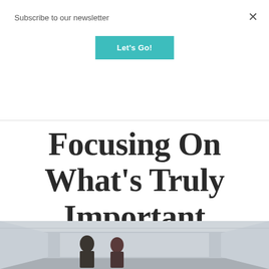Subscribe to our newsletter
Let's Go!
Focusing On What's Truly Important
[Figure (photo): Two healthcare professionals walking together in a hospital hallway corridor]